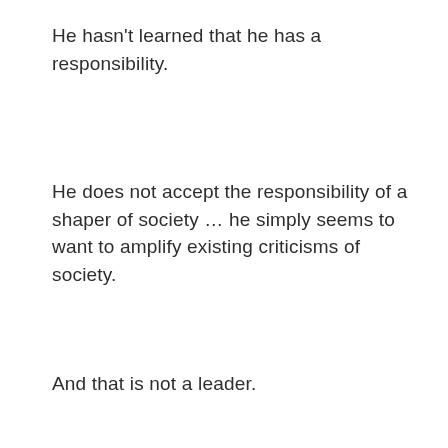He hasn't learned that he has a responsibility.
He does not accept the responsibility of a shaper of society … he simply seems to want to amplify existing criticisms of society.
And that is not a leader.